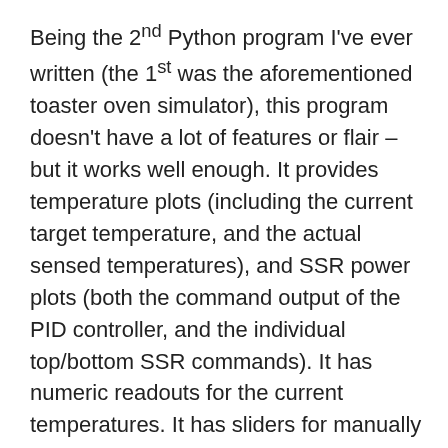Being the 2nd Python program I've ever written (the 1st was the aforementioned toaster oven simulator), this program doesn't have a lot of features or flair – but it works well enough. It provides temperature plots (including the current target temperature, and the actual sensed temperatures), and SSR power plots (both the command output of the PID controller, and the individual top/bottom SSR commands). It has numeric readouts for the current temperatures. It has sliders for manually specifying temperature targets, or manually specifying SSR levels. And, it has buttons for changing the controller's state (the most important being the “Go” button, which starts a reflow operation).
It also automatically logs all operations to time-stamped CSV files (one-such CSV file is the source of the reflow